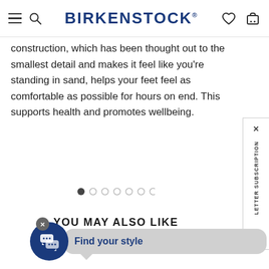BIRKENSTOCK
construction, which has been thought out to the smallest detail and makes it feel like you're standing in sand, helps your feet feel as comfortable as possible for hours on end. This supports health and promotes wellbeing.
[Figure (other): Carousel pagination dots, 7 dots total, first dot active/dark]
YOU MAY ALSO LIKE
[Figure (other): Chat widget with close button, blue circle icon with speech bubbles, grey bubble saying Find your style]
[Figure (other): Vertical side tab with X close button and LETTER SUBSCRIPTION text]